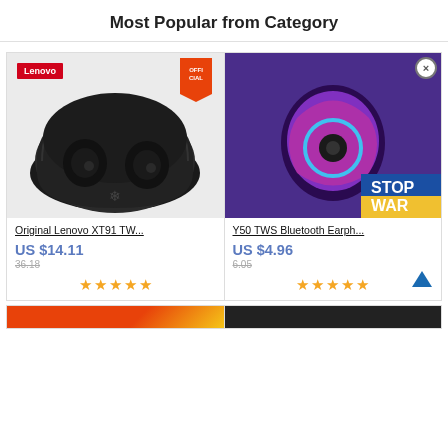Most Popular from Category
[Figure (photo): Original Lenovo XT91 TWS earbuds in charging case, black, with Lenovo red badge and Official orange badge]
Original Lenovo XT91 TW...
US $14.11
36.18
★★★★★
[Figure (photo): Y50 TWS Bluetooth earphones, purple background, with STOP WAR overlay banner and close button]
Y50 TWS Bluetooth Earph...
US $4.96
6.05
★★★★★